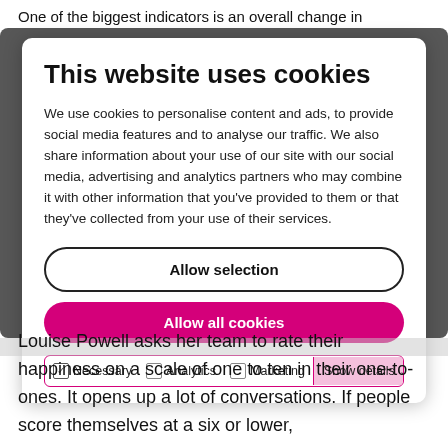One of the biggest indicators is an overall change in
[Figure (screenshot): Cookie consent modal dialog over a darkened background. Title: 'This website uses cookies'. Body text about cookie usage. Two buttons: 'Allow selection' (outlined) and 'Allow all cookies' (pink/magenta filled). Checkbox row with Necessary (checked), Analytics (unchecked), Marketing (unchecked), and 'Show details' button.]
Louise Powell asks her team to rate their happiness on a scale of one to ten in their one-to-ones. It opens up a lot of conversations. If people score themselves at a six or lower,